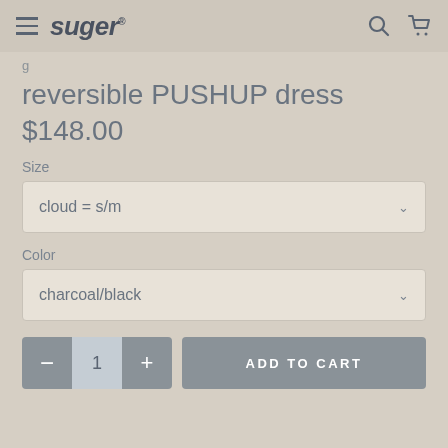suger
reversible PUSHUP dress
$148.00
Size
cloud = s/m
Color
charcoal/black
1
ADD TO CART